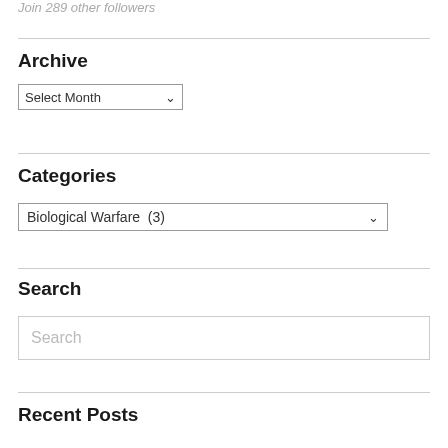Join 289 other followers
Archive
Select Month
Categories
Biological Warfare  (3)
Search
Search
Recent Posts